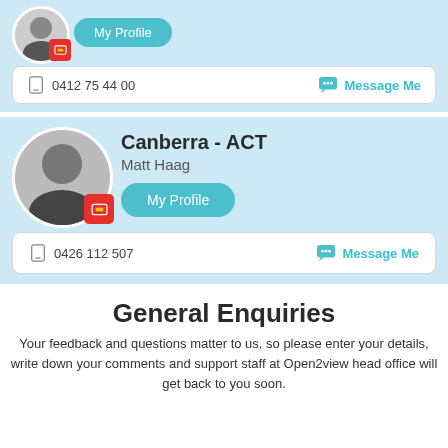[Figure (screenshot): Profile card top: avatar with red badge icon and My Profile button, phone number 0412 75 44 00 and Message Me link]
0412 75 44 00
Message Me
Canberra - ACT
Matt Haag
My Profile
0426 112 507
Message Me
General Enquiries
Your feedback and questions matter to us, so please enter your details, write down your comments and support staff at Open2view head office will get back to you soon.